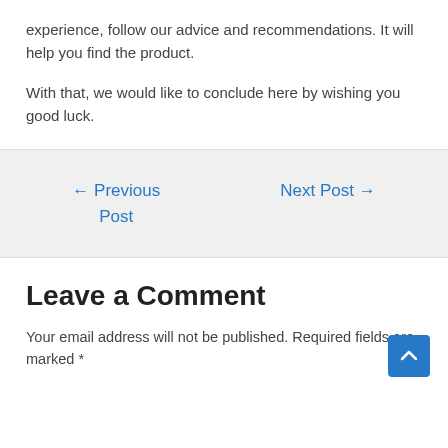experience, follow our advice and recommendations. It will help you find the product.
With that, we would like to conclude here by wishing you good luck.
← Previous Post
Next Post →
Leave a Comment
Your email address will not be published. Required fields are marked *